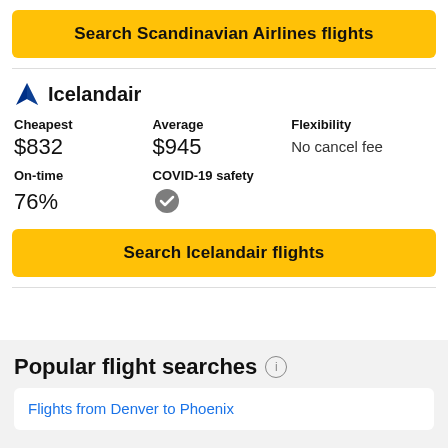Search Scandinavian Airlines flights
Icelandair
| Cheapest | Average | Flexibility |
| --- | --- | --- |
| $832 | $945 | No cancel fee |
| On-time | COVID-19 safety |
| --- | --- |
| 76% | ✓ |
Search Icelandair flights
Popular flight searches
Flights from Denver to Phoenix